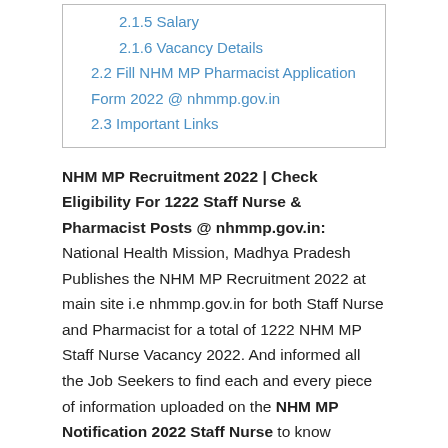2.1.5 Salary
2.1.6 Vacancy Details
2.2 Fill NHM MP Pharmacist Application Form 2022 @ nhmmp.gov.in
2.3 Important Links
NHM MP Recruitment 2022 | Check Eligibility For 1222 Staff Nurse & Pharmacist Posts @ nhmmp.gov.in: National Health Mission, Madhya Pradesh Publishes the NHM MP Recruitment 2022 at main site i.e nhmmp.gov.in for both Staff Nurse and Pharmacist for a total of 1222 NHM MP Staff Nurse Vacancy 2022. And informed all the Job Seekers to find each and every piece of information uploaded on the NHM MP Notification 2022 Staff Nurse to know whether they are eligible for the Respective Posts or Not. Apply by Forwarding the